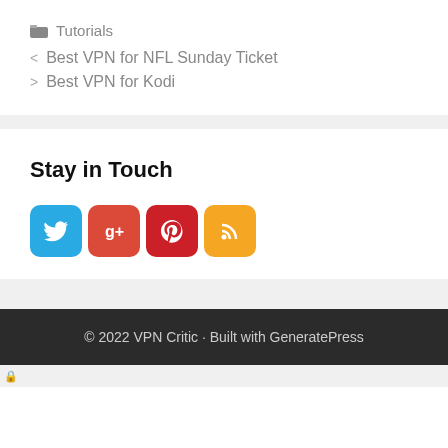Tutorials
Best VPN for NFL Sunday Ticket
Best VPN for Kodi
Stay in Touch
[Figure (infographic): Social media icon buttons: Twitter (blue), Google+ (orange-red), Pinterest (red), RSS (orange)]
© 2022 VPN Critic • Built with GeneratePress